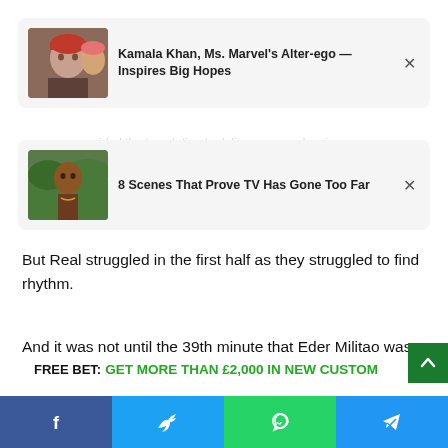[Figure (screenshot): Ad card 1: thumbnail of a young woman in a red beanie hat, with title 'Kamala Khan, Ms. Marvel's Alter-ego — Inspires Big Hopes']
[Figure (screenshot): Ad card 2: thumbnail of a woman outdoors, with title '8 Scenes That Prove TV Has Gone Too Far']
But Real struggled in the first half as they struggled to find rhythm.
And it was not until the 39th minute that Eder Militao was able to burn the Los Blancos net away from home.
FREE BET: GET MORE THAN £2,000 IN NEW CUSTOMER BETS
[Figure (screenshot): Social share bar with Facebook, Twitter, WhatsApp, and Telegram icons]